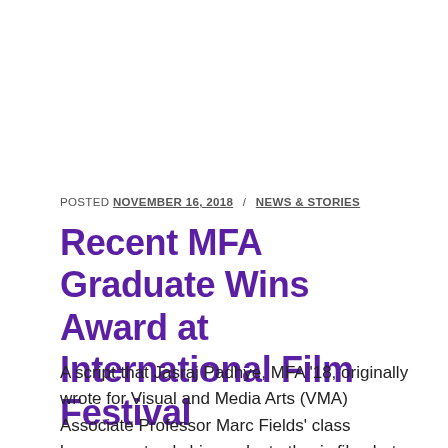POSTED NOVEMBER 16, 2018 / NEWS & STORIES
Recent MFA Graduate Wins Award at International Film Festival
A script that Jasraj Padhye, MFA '18, originally wrote for Visual and Media Arts (VMA) Associate Professor Marc Fields' class became not only his graduate thesis film, but also the winner of an audience award at the International Student